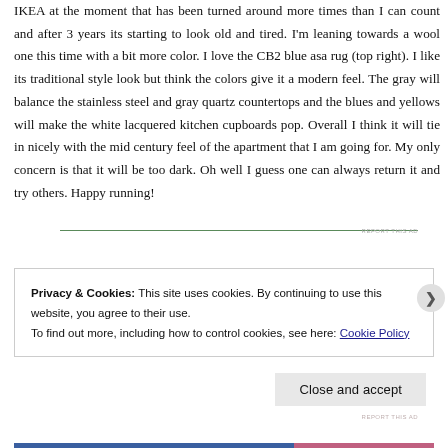IKEA at the moment that has been turned around more times than I can count and after 3 years its starting to look old and tired. I'm leaning towards a wool one this time with a bit more color. I love the CB2 blue asa rug (top right). I like its traditional style look but think the colors give it a modern feel. The gray will balance the stainless steel and gray quartz countertops and the blues and yellows will make the white lacquered kitchen cupboards pop. Overall I think it will tie in nicely with the mid century feel of the apartment that I am going for. My only concern is that it will be too dark. Oh well I guess one can always return it and try others. Happy running!
REPORT THIS AD
Privacy & Cookies: This site uses cookies. By continuing to use this website, you agree to their use.
To find out more, including how to control cookies, see here: Cookie Policy
Close and accept
REPORT THIS AD